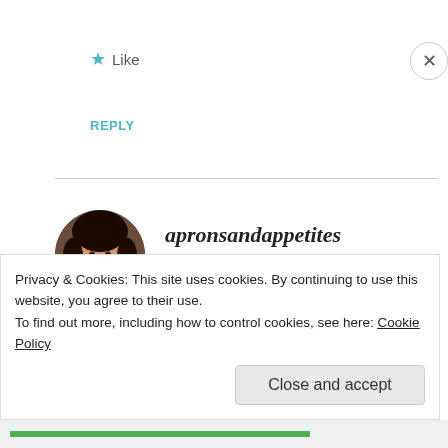★ Like
REPLY
[Figure (photo): Circular avatar photo of a woman with dark hair, smiling]
apronsandappetites
FEBRUARY 11, 2011 AT 9:05 PM
Thank you. 🙂
★ Like
Privacy & Cookies: This site uses cookies. By continuing to use this website, you agree to their use.
To find out more, including how to control cookies, see here: Cookie Policy
Close and accept